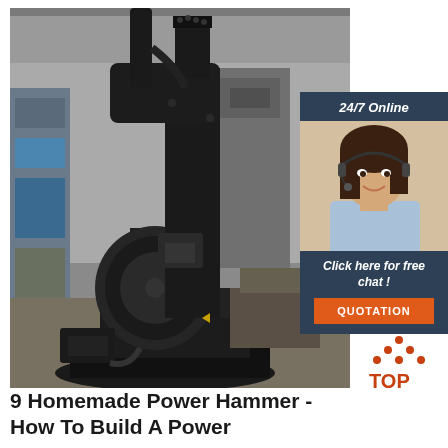[Figure (photo): A large industrial power hammer machine photographed in a factory/workshop setting. The machine is painted black and stands on a heavy base plate. Industrial shelving and equipment visible in the background.]
[Figure (infographic): Advertisement overlay box with dark navy background. Shows '24/7 Online' header text, photo of a smiling woman with a headset, text 'Click here for free chat!', and an orange button labeled 'QUOTATION'.]
[Figure (logo): A 'TOP' logo icon with orange dots arranged in a triangle/pyramid shape above the word TOP in orange letters.]
9 Homemade Power Hammer - How To Build A Power